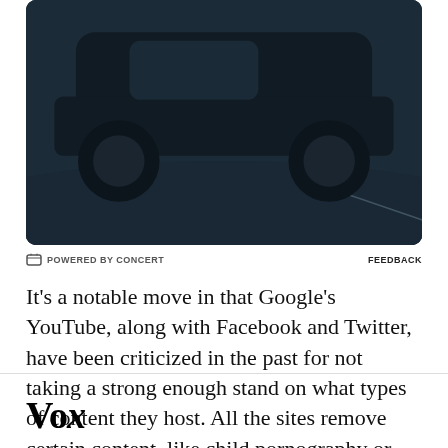[Figure (photo): Advertisement showing the bottom portion of a dark Honda HR-V SUV on a dark road background, with a blue 'LEARN MORE' button and caption 'HR-V Sport shown in Urban Gray Pearl.']
POWERED BY CONCERT   FEEDBACK
It's a notable move in that Google's YouTube, along with Facebook and Twitter, have been criticized in the past for not taking a strong enough stand on what types of content they host. All the sites remove certain content, like child pornography or
Vox